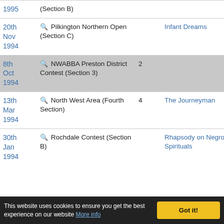| Date | Contest | Place | Piece | Extra |
| --- | --- | --- | --- | --- |
| 1995 | (Section B) |  |  |  |
| 20th Nov 1994 | 🔍 Pilkington Northern Open (Section C) |  | Infant Dreams | 6 |
| 8th Oct 1994 | 🔍 NWABBA Preston District Contest (Section 3) | 2 |  |  |
| 13th Mar 1994 | 🔍 North West Area (Fourth Section) | 4 | The Journeyman | 1 |
| 30th Jan 1994 | 🔍 Rochdale Contest (Section B) |  | Rhapsody on Negro Spirituals | 6 |
This website uses cookies to ensure you get the best experience on our website More info